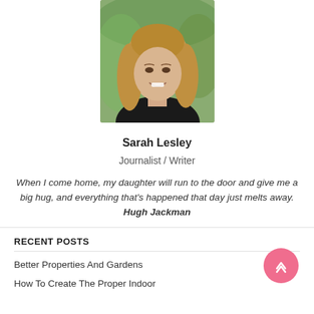[Figure (photo): Portrait photo of a young blonde woman smiling, wearing a dark top, outdoors with green blurred background]
Sarah Lesley
Journalist / Writer
When I come home, my daughter will run to the door and give me a big hug, and everything that's happened that day just melts away. Hugh Jackman
RECENT POSTS
Better Properties And Gardens
How To Create The Proper Indoor